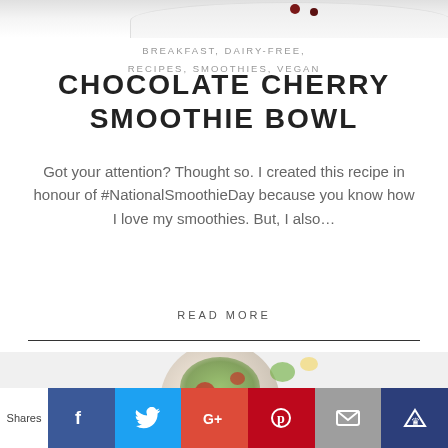[Figure (photo): Top portion of a smoothie bowl photo, white bowl with dark cherries visible at top of page]
BREAKFAST, DAIRY-FREE, RECIPES, SMOOTHIES, VEGAN
CHOCOLATE CHERRY SMOOTHIE BOWL
Got your attention? Thought so. I created this recipe in honour of #NationalSmoothieDay because you know how I love my smoothies. But, I also…
READ MORE
[Figure (photo): Overhead photo of a bowl with salad ingredients including greens, tomatoes, and lemon]
Shares